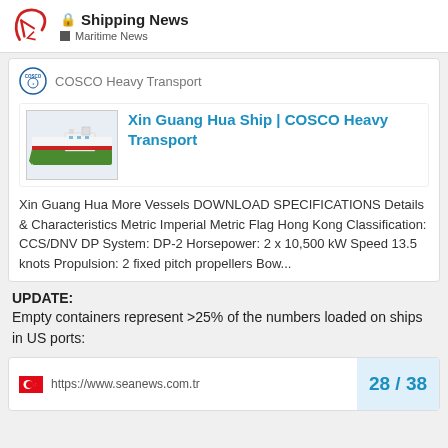Shipping News — Maritime News
COSCO Heavy Transport
[Figure (screenshot): Ship image thumbnail for Xin Guang Hua showing a vessel side view in white, red, and green]
Xin Guang Hua Ship | COSCO Heavy Transport
Xin Guang Hua More Vessels DOWNLOAD SPECIFICATIONS Details & Characteristics Metric Imperial Metric Flag Hong Kong Classification: CCS/DNV DP System: DP-2 Horsepower: 2 x 10,500 kW Speed 13.5 knots Propulsion: 2 fixed pitch propellers Bow...
UPDATE:
Empty containers represent >25% of the numbers loaded on ships in US ports:
https://www.seanews.com.tr
28 / 38